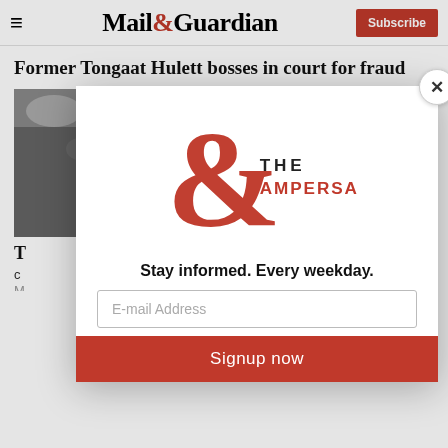Mail&Guardian — Subscribe
Former Tongaat Hulett bosses in court for fraud
[Figure (photo): Crowd photo with umbrellas, partially obscured by modal dialog]
[Figure (logo): The Ampersand newsletter logo — large red ampersand with THE AMPERSAND text]
Stay informed. Every weekday.
E-mail Address
Signup now